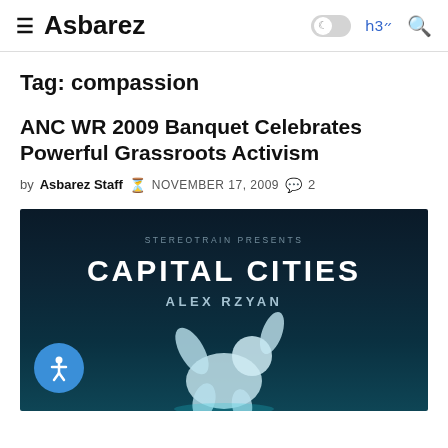≡ Asbarez  ☽ ՀՅ3 🔍
Tag: compassion
ANC WR 2009 Banquet Celebrates Powerful Grassroots Activism
by Asbarez Staff  NOVEMBER 17, 2009  💬 2
[Figure (photo): Dark promotional concert poster image showing 'STEREOTRAIN PRESENTS' at top, 'CAPITAL CITIES' in large bold letters, 'ALEX RZYAN' below, with a floating 3D-rendered human figure in teal/blue tones at the bottom]